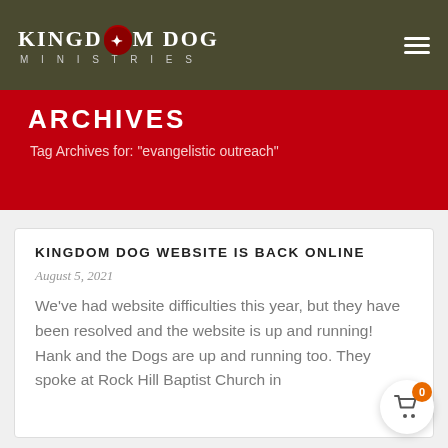[Figure (logo): Kingdom Dog Ministries logo — white text on dark olive/brown header bar with hamburger menu icon on the right]
KINGDOM DOG MINISTRIES
ARCHIVES
Tag Archives for: "evangelistic outreach"
KINGDOM DOG WEBSITE IS BACK ONLINE
August 5, 2021
We've had website difficulties this year, but they have been resolved and the website is up and running! Hank and the Dogs are up and running too. They spoke at Rock Hill Baptist Church in